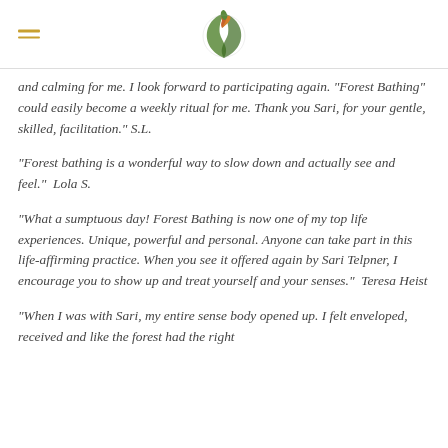Navigation header with hamburger menu and logo
and calming for me. I look forward to participating again. "Forest Bathing" could easily become a weekly ritual for me. Thank you Sari, for your gentle, skilled, facilitation." S.L.
"Forest bathing is a wonderful way to slow down and actually see and feel."  Lola S.
"What a sumptuous day! Forest Bathing is now one of my top life experiences. Unique, powerful and personal. Anyone can take part in this life-affirming practice. When you see it offered again by Sari Telpner, I encourage you to show up and treat yourself and your senses."  Teresa Heist
"When I was with Sari, my entire sense body opened up. I felt enveloped, received and like the forest had the right